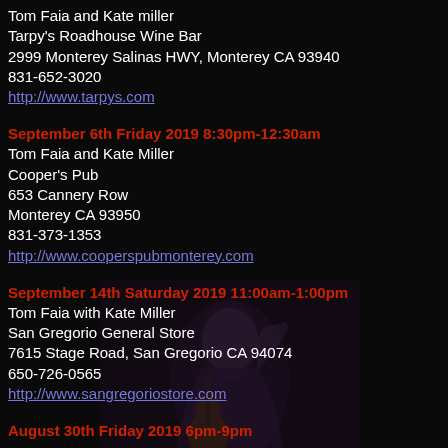Tom Faia and Kate miller
Tarpy's Roadhouse Wine Bar
2999 Monterey Salinas HWY, Monterey CA 93940
831-652-3020
http://www.tarpys.com
September 6th Friday 2019 8:30pm-12:30am
Tom Faia and Kate Miller
Cooper's Pub
653 Cannery Row
Monterey CA 93950
831-373-1353
http://www.cooperspubmonterey.com
September 14th Saturday 2019 11:00am-1:00pm
Tom Faia with Kate Miller
San Gregorio General Store
7615 Stage Road, San Gregorio CA 94074
650-726-0565
http://www.sangregoriostore.com
August 30th Friday 2019 6pm-9pm